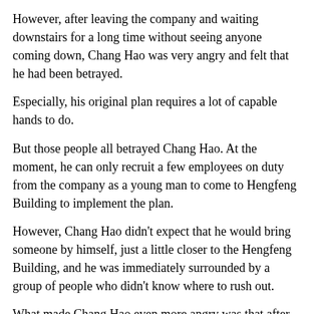However, after leaving the company and waiting downstairs for a long time without seeing anyone coming down, Chang Hao was very angry and felt that he had been betrayed.
Especially, his original plan requires a lot of capable hands to do.
But those people all betrayed Chang Hao. At the moment, he can only recruit a few employees on duty from the company as a young man to come to Hengfeng Building to implement the plan.
However, Chang Hao didn't expect that he would bring someone by himself, just a little closer to the Hengfeng Building, and he was immediately surrounded by a group of people who didn't know where to rush out.
What made Chang Hao even more angry was that after identifying himself, the other party still refused to let him go.
“Who is your person in charge, let him come out and see me!” Chang Hao yelled.
Even inside the company, he is not Dustin Zhou’s opponent, but outside the company, Chang Hao will never weaken his identity.
What’s more, behind him at this time, there were a dozen